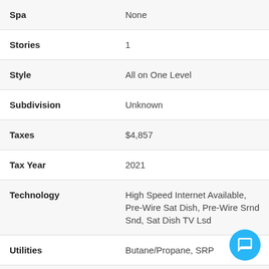| Property | Value |
| --- | --- |
| Spa | None |
| Stories | 1 |
| Style | All on One Level |
| Subdivision | Unknown |
| Taxes | $4,857 |
| Tax Year | 2021 |
| Technology | High Speed Internet Available, Pre-Wire Sat Dish, Pre-Wire Srnd Snd, Sat Dish TV Lsd |
| Utilities | Butane/Propane, SRP |
| Water | Well - Shared |